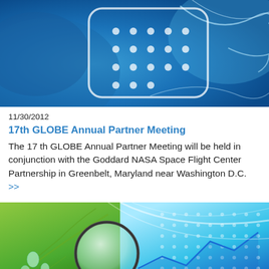[Figure (illustration): Blue world globe background with a calendar/grid icon overlay showing white dots in a grid pattern on a rounded rectangle, with light blue swirling lines]
11/30/2012
17th GLOBE Annual Partner Meeting
The 17 th GLOBE Annual Partner Meeting will be held in conjunction with the Goddard NASA Space Flight Center Partnership in Greenbelt, Maryland near Washington D.C.  >>
[Figure (illustration): Composite image with green leaf with water droplets on left, a magnifying glass in center, and blue/teal line chart with dot grid pattern on right. Dates 2013 and Feb 27, 2013 visible at bottom.]